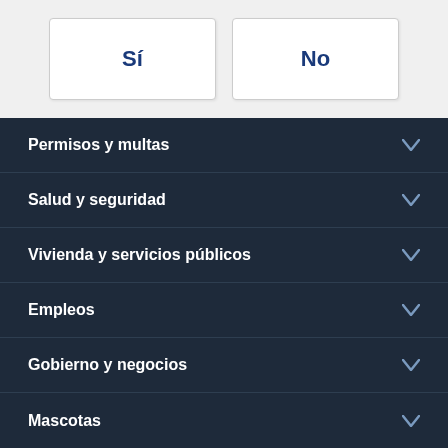Sí
No
Permisos y multas
Salud y seguridad
Vivienda y servicios públicos
Empleos
Gobierno y negocios
Mascotas